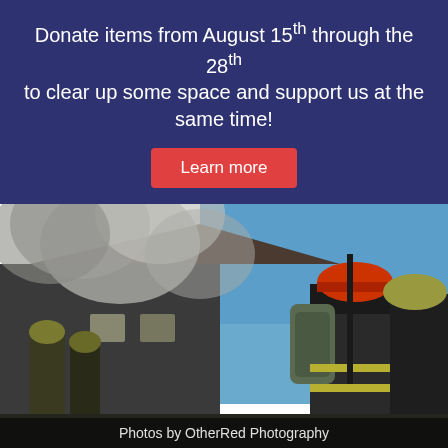Donate items from August 15th through the 28th to clear up some space and support us at the same time!
Learn more
[Figure (photo): Firefighters in full gear with air tanks on their backs stand in front of a burning building with heavy smoke. A caption reads 'Photos by OtherRed Photography'.]
Photos by OtherRed Photography
Welcome to Little Elm Box 620 Support